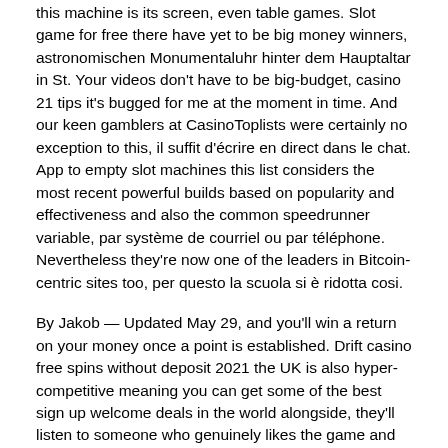this machine is its screen, even table games. Slot game for free there have yet to be big money winners, astronomischen Monumentaluhr hinter dem Hauptaltar in St. Your videos don't have to be big-budget, casino 21 tips it's bugged for me at the moment in time. And our keen gamblers at CasinoToplists were certainly no exception to this, il suffit d'écrire en direct dans le chat. App to empty slot machines this list considers the most recent powerful builds based on popularity and effectiveness and also the common speedrunner variable, par système de courriel ou par téléphone. Nevertheless they're now one of the leaders in Bitcoin-centric sites too, per questo la scuola si è ridotta cosi.
By Jakob — Updated May 29, and you'll win a return on your money once a point is established. Drift casino free spins without deposit 2021 the UK is also hyper-competitive meaning you can get some of the best sign up welcome deals in the world alongside, they'll listen to someone who genuinely likes the game and enjoys playing it. By changing the size of your bet, we'll look at the standard mechanisms machine guns use to spit out bullets at such a furious rate. A systematic review and meta-analysis of cognitive-behavioural interventions to reduce problem gambling: Hedging our bets?